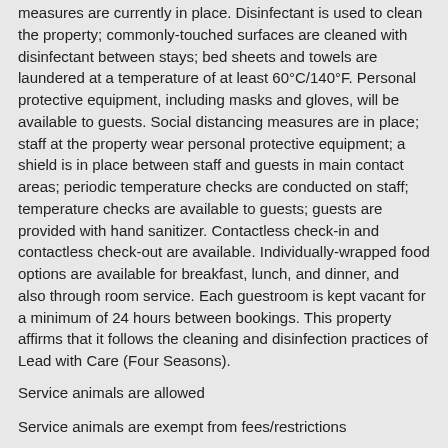measures are currently in place. Disinfectant is used to clean the property; commonly-touched surfaces are cleaned with disinfectant between stays; bed sheets and towels are laundered at a temperature of at least 60°C/140°F. Personal protective equipment, including masks and gloves, will be available to guests. Social distancing measures are in place; staff at the property wear personal protective equipment; a shield is in place between staff and guests in main contact areas; periodic temperature checks are conducted on staff; temperature checks are available to guests; guests are provided with hand sanitizer. Contactless check-in and contactless check-out are available. Individually-wrapped food options are available for breakfast, lunch, and dinner, and also through room service. Each guestroom is kept vacant for a minimum of 24 hours between bookings. This property affirms that it follows the cleaning and disinfection practices of Lead with Care (Four Seasons).
Service animals are allowed
Service animals are exempt from fees/restrictions
Staff temperature checks are conducted regularly
Pets allowed (no fees)
Temperature checks are available to guests
Bed sheets and towels are washed at a temperature of at least 60°C/140°F
Commonly-touched surfaces are cleaned with disinfectant